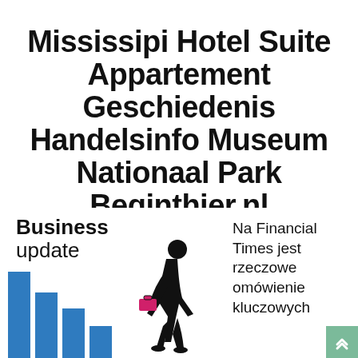Mississipi Hotel Suite Appartement Geschiedenis Handelsinfo Museum Nationaal Park Beginthier.nl
Business News
[Figure (infographic): Business update infographic with descending blue bar chart and black silhouette of a person walking with a pink/magenta briefcase, overlaid with the text 'Business update']
Na Financial Times jest rzeczowe omówienie kluczowych